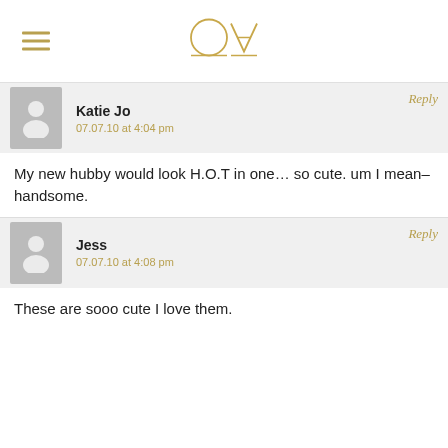OW (logo)
Reply
Katie Jo
07.07.10 at 4:04 pm
My new hubby would look H.O.T in one… so cute. um I mean– handsome.
Reply
Jess
07.07.10 at 4:08 pm
These are sooo cute I love them.